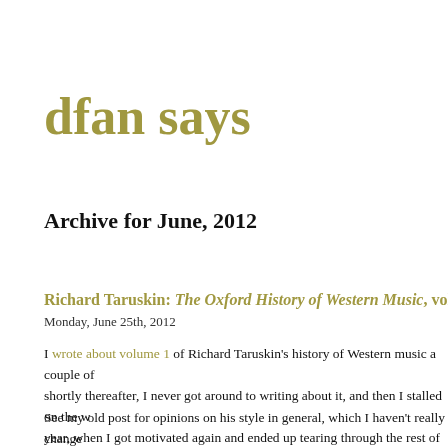dfan says
Archive for June, 2012
Richard Taruskin: The Oxford History of Western Music, volu…
Monday, June 25th, 2012
I wrote about volume 1 of Richard Taruskin's history of Western music a couple of shortly thereafter, I never got around to writing about it, and then I stalled on the w year, when I got motivated again and ended up tearing through the rest of it in the sp
See my old post for opinions on his style in general, which I haven't really change that once he got to the year 1700 or so, I was suddenly about 80% familiar with the